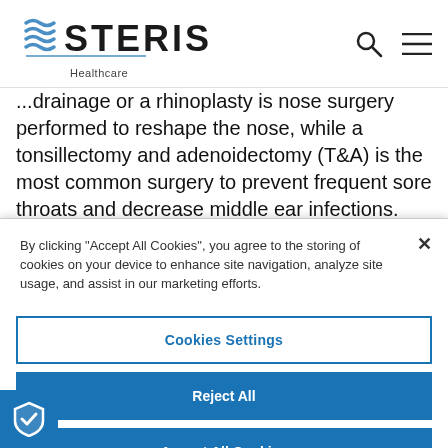[Figure (logo): STERIS Healthcare logo with wave icon]
...drainage or a rhinoplasty is nose surgery performed to reshape the nose, while a tonsillectomy and adenoidectomy (T&A) is the most common surgery to prevent frequent sore throats and decrease middle ear infections. ENT surgical accessories are specifically designed
By clicking “Accept All Cookies”, you agree to the storing of cookies on your device to enhance site navigation, analyze site usage, and assist in our marketing efforts.
Cookies Settings
Reject All
Accept All Cookies